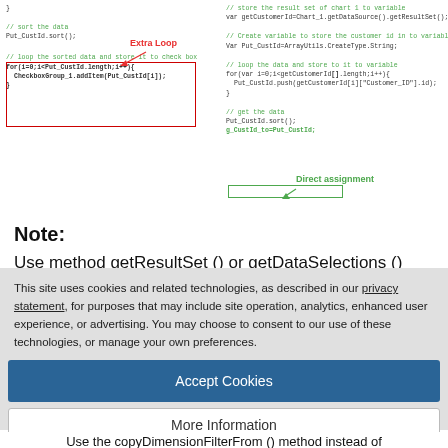[Figure (screenshot): Two-column code screenshot showing JavaScript code. Left column has a red box highlight labeled 'Extra Loop' around a for-loop. Right column has a green box labeled 'Direct assignment' around a direct assignment line.]
Note:
Use method getResultSet () or getDataSelections () instead of
[Figure (screenshot): Cookie consent banner overlay with Accept Cookies and More Information buttons, Privacy Policy link and TrustArc branding.]
Use the copyDimensionFilterFrom () method instead of